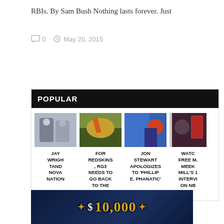RBIs. By Sam Bush Nothing lasts forever. Just
0   May 20, 2015
POPULAR
[Figure (photo): Jay Wright and Nova Nation - sports photo]
JAY WRIGHTAND NOVA NATION
[Figure (photo): For Redskins, RG3 Needs to Go Back to the Future - football photo]
FOR REDSKINS, RG3 NEEDS TO GO BACK TO THE FUTURE
[Figure (photo): Jon Stewart Apologizes to Phillie Phanatic - TV show photo]
JON STEWART APOLOGIZES TO 'PHILLIPE. PHANATIC'
[Figure (photo): Watch: Free Meek Mill's Interview on NB...]
WATCH FREE MEEK MILL'S 1 INTERVIEW ON NB
[Figure (photo): Bottom banner showing $10,000 prize]